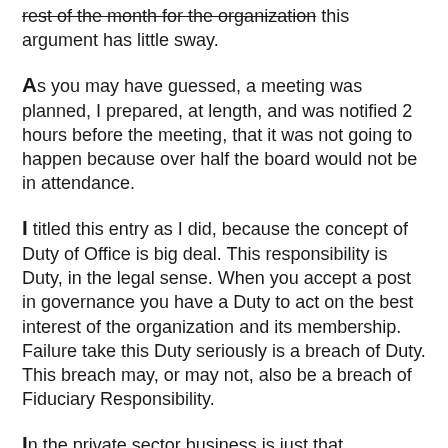rest of the month for the organization this argument has little sway.
As you may have guessed, a meeting was planned, I prepared, at length, and was notified 2 hours before the meeting, that it was not going to happen because over half the board would not be in attendance.
I titled this entry as I did, because the concept of Duty of Office is big deal. This responsibility is Duty, in the legal sense. When you accept a post in governance you have a Duty to act on the best interest of the organization and its membership. Failure take this Duty seriously is a breach of Duty. This breach may, or may not, also be a breach of Fiduciary Responsibility.
In the private sector business is just that, business. It seems that in the small (under $2.5M annual gross) non-profit sector, the assumption is that “non-profit” is an operationally edict. It is not. NB is not a statement and nothing else. Revenue must at